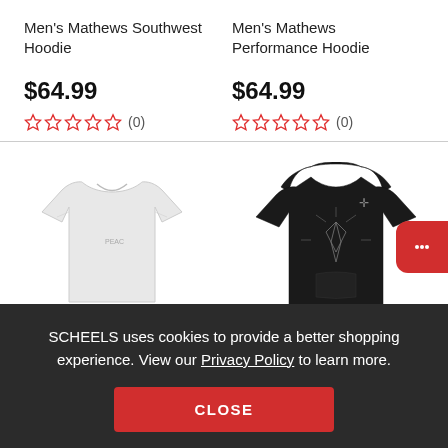Men's Mathews Southwest Hoodie
$64.99
☆☆☆☆☆ (0)
Men's Mathews Performance Hoodie
$64.99
☆☆☆☆☆ (0)
[Figure (photo): White long-sleeve performance shirt on left, black hoodie with graphic print on right]
SCHEELS uses cookies to provide a better shopping experience. View our Privacy Policy to learn more.
CLOSE